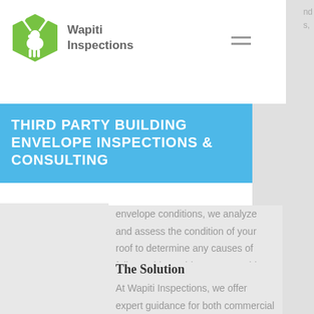[Figure (logo): Wapiti Inspections logo: green elk/deer silhouette in a green pentagon shape, with company name 'Wapiti Inspections' in gray text to the right]
THIRD PARTY BUILDING ENVELOPE INSPECTIONS & CONSULTING
envelope conditions, we analyze and assess the condition of your roof to determine any causes of failure. This enables us to provide you with the most comprehensive information you need for informed decisions regarding repair and restoration strategies.
The Solution
At Wapiti Inspections, we offer expert guidance for both commercial and residential roofs, a key component in building